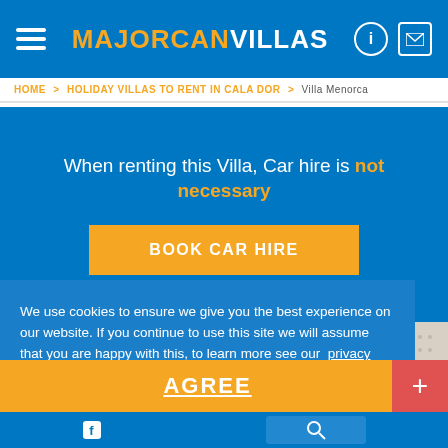MAJORCANVILLAS
HOME > HOLIDAY VILLAS TO RENT IN CALA DOR > Villa Menorca
When renting this Villa, Car hire is not necessary
BOOK CAR HIRE
[Figure (photo): Exterior of a modern white villa against a clear blue sky]
We use cookies to ensure we give you the best experience on our website. If you continue to use this site we will assume that you are happy with this, to learn more see our privacy policy
AGREE